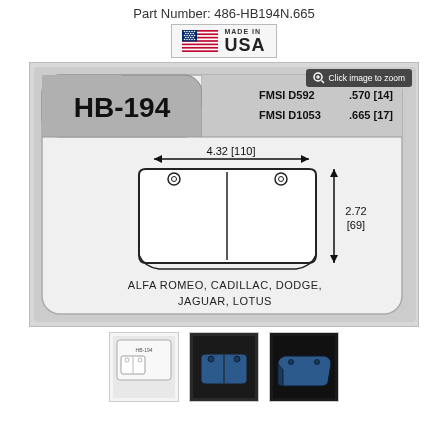Part Number: 486-HB194N.665
[Figure (illustration): Made in USA badge with American flag icon]
[Figure (engineering-diagram): HB-194 brake pad engineering drawing showing dimensions: 4.32 [110] width, 2.72 [69] height, FMSI D592 .570[14], FMSI D1053 .665[17]. Compatible with ALFA ROMEO, CADILLAC, DODGE, JAGUAR, LOTUS]
[Figure (photo): Three thumbnail images of the brake pad product: line drawing, front view, angled view]